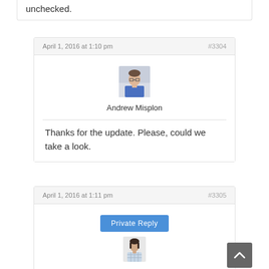unchecked.
April 1, 2016 at 1:10 pm
#3304
[Figure (photo): Profile photo of Andrew Misplon, a man wearing a blue shirt]
Andrew Misplon
Thanks for the update. Please, could we take a look.
April 1, 2016 at 1:11 pm
#3305
Private Reply
[Figure (photo): Small profile photo of a woman in a plaid shirt]